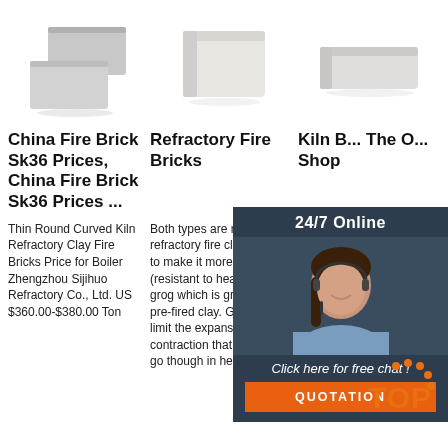[Figure (photo): Three grey fire brick products shown in a row at top of page]
China Fire Brick Sk36 Prices, China Fire Brick Sk36 Prices ...
Thin Round Curved Kiln Refractory Clay Fire Bricks Price for Boiler Zhengzhou Sijihuo Refractory Co., Ltd. US $360.00-$380.00 Ton
Refractory Fire Bricks
Both types are made of refractory fire clay, alumina to make it more refractory (resistant to heat), and grog which is ground up, pre-fired clay. Grog helps limit the expansion and contraction that fire bricks go though in heating
Kiln Bricks - The One Stop Shop
Kiln Bricks, also referred to as Kiln Bricks Refractory are made of a ceramic material that can withstand extremely high temperatures, such as those achieved in kiln firings. The bricks
[Figure (photo): Customer service agent overlay panel with 24/7 Online text, photo of woman with headset, Click here for free chat!, and QUOTATION button]